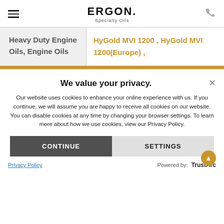ERGON Specialty Oils
Heavy Duty Engine Oils, Engine Oils
HyGold MVI 1200 , HyGold MVI 1200(Europe) ,
We value your privacy.
Our website uses cookies to enhance your online experience with us. If you continue, we will assume you are happy to receive all cookies on our website. You can disable cookies at any time by changing your browser settings. To learn more about how we use cookies, view our Privacy Policy.
CONTINUE
SETTINGS
Privacy Policy    Powered by: TrustArc